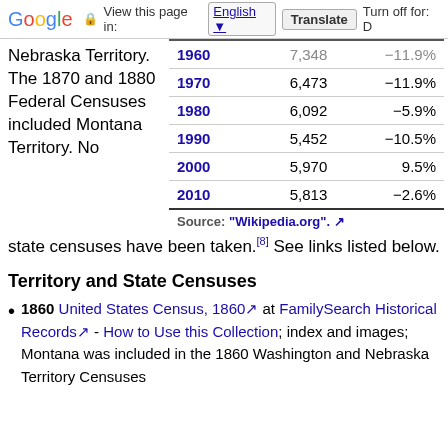Google — View this page in: English | Translate | Turn off for: D
| Year | Population | Change |
| --- | --- | --- |
| 1960 | 7,348 | −11.9% |
| 1970 | 6,473 | −11.9% |
| 1980 | 6,092 | −5.9% |
| 1990 | 5,452 | −10.5% |
| 2000 | 5,970 | 9.5% |
| 2010 | 5,813 | −2.6% |
Nebraska Territory. The 1870 and 1880 Federal Censuses included Montana Territory. No state censuses have been taken.[8] See links listed below.
Territory and State Censuses
1860 United States Census, 1860 at FamilySearch Historical Records - How to Use this Collection; index and images; Montana was included in the 1860 Washington and Nebraska Territory Censuses